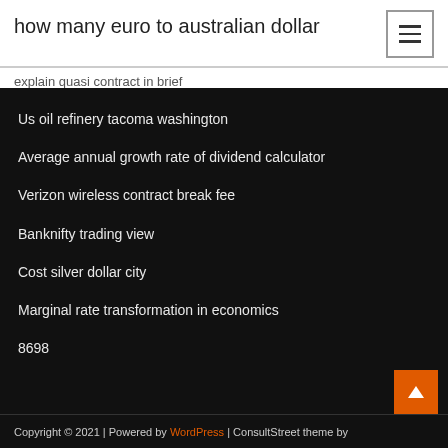how many euro to australian dollar
explain quasi contract in brief
Us oil refinery tacoma washington
Average annual growth rate of dividend calculator
Verizon wireless contract break fee
Banknifty trading view
Cost silver dollar city
Marginal rate transformation in economics
8698
Copyright © 2021 | Powered by WordPress | ConsultStreet theme by